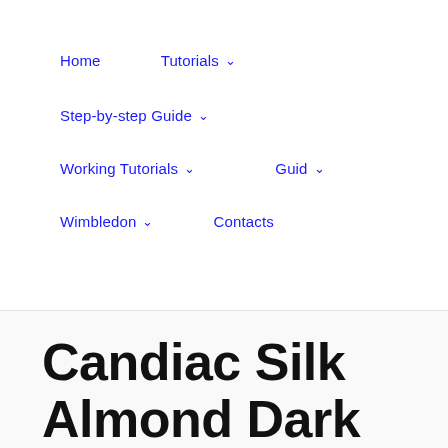Home   Tutorials ∨   Step-by-step Guide ∨   Working Tutorials ∨   Guid ∨   Wimbledon ∨   Contacts
Candiac Silk Almond Dark